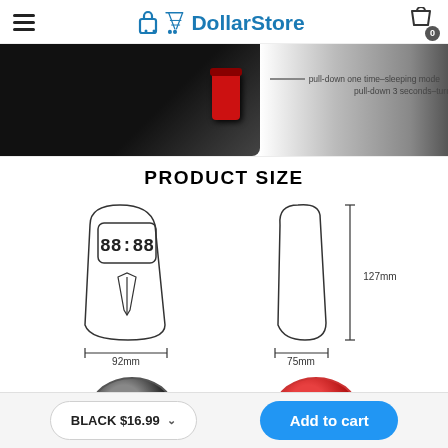DollarStore — 0 items in cart
[Figure (photo): Product detail photo showing alarm clock device with a red button and annotation text: 'pull-down one time–sleeping mode, pull-down 3 seconds–turn off mode']
PRODUCT SIZE
[Figure (engineering-diagram): Line drawing diagrams of the alarm clock product showing front view (92mm wide, with 88:88 digital display and tie design) and side view (75mm wide, 127mm tall)]
[Figure (photo): Partial view of two product variants at the bottom — one black and one red/orange color]
BLACK $16.99
Add to cart